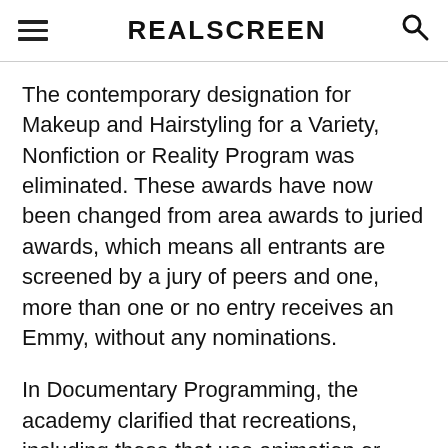REALSCREEN
The contemporary designation for Makeup and Hairstyling for a Variety, Nonfiction or Reality Program was eliminated. These awards have now been changed from area awards to juried awards, which means all entrants are screened by a jury of peers and one, more than one or no entry receives an Emmy, without any nominations.
In Documentary Programming, the academy clarified that recreations, including those that use animation or performers, if they're fact-based and used for illustrative purposes, are limited to a